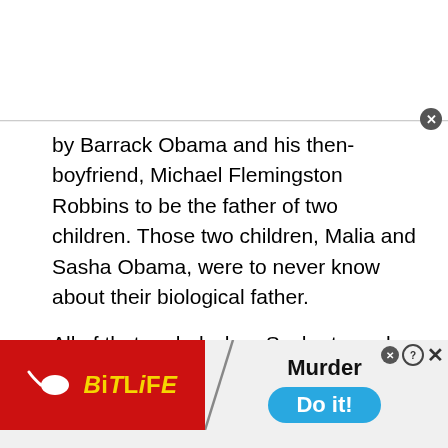[Figure (screenshot): White ad banner area at top of page, approximately 120px tall]
by Barrack Obama and his then-boyfriend, Michael Flemingston Robbins to be the father of two children. Those two children, Malia and Sasha Obama, were to never know about their biological father.

All of that ended when Sasha turned 18, as the couple always knew it would. Now that they're adults, the Obama girls are no longer under the
[Figure (screenshot): BitLife advertisement banner. Left side: red background with sperm icon and yellow 'BiTLiFE' logo. Right side: light background with diagonal line, 'Murder' text, question/close icons, and blue 'Do it!' button.]